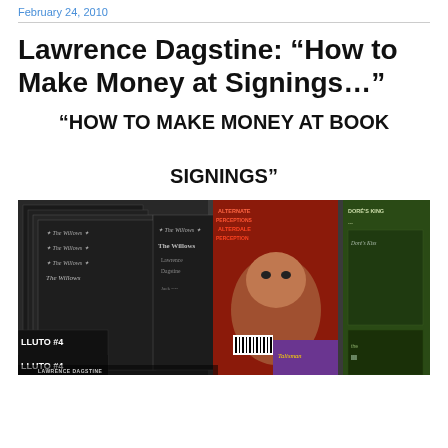February 24, 2010
Lawrence Dagstine: “How to Make Money at Signings…”
“HOW TO MAKE MONEY AT BOOK SIGNINGS”
[Figure (photo): Photo showing multiple book covers and magazines spread out on a table, including The Willows magazine issues, Pluto #4, Alternate Perceptions, and other publications]